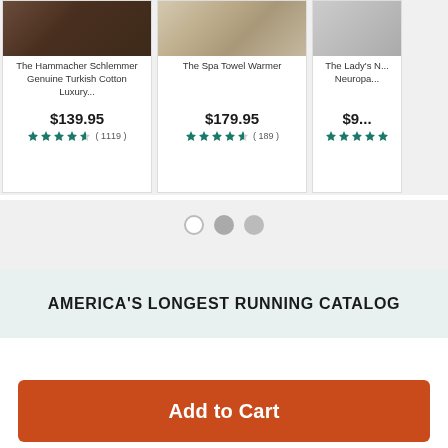[Figure (screenshot): Product card 1: The Hammacher Schlemmer Genuine Turkish Cotton Luxury... priced at $139.95 with 4.5 stars (1119 reviews)]
[Figure (screenshot): Product card 2: The Spa Towel Warmer priced at $179.95 with 4.5 stars (189 reviews)]
[Figure (screenshot): Product card 3: The Lady's Neuropat... partially visible with $9... price and star rating]
AMERICA'S LONGEST RUNNING CATALOG
Add to Cart